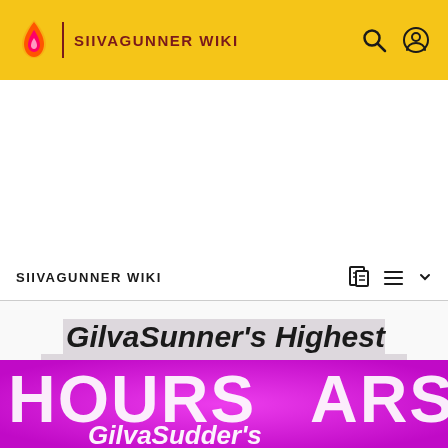SIIVAGUNNER WIKI
SIIVAGUNNER WIKI
GilvaSunner's Highest Quality Video Game Rips: Volume FOUR HOURS!
[Figure (illustration): Bottom banner with magenta/pink background showing 'HOURS' text and 'GilvaSudder's' text in white, partial view of album/video thumbnail]